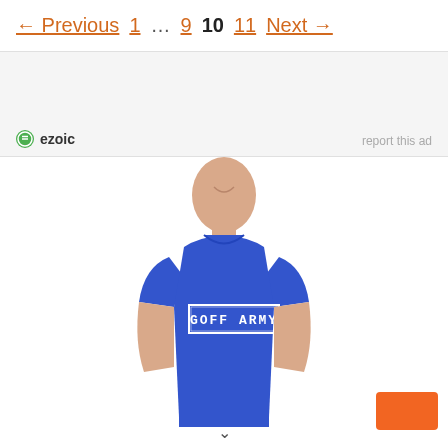← Previous  1  …  9  10  11  Next →
[Figure (other): Ezoic advertisement banner with ezoic logo on left and 'report this ad' text on right]
[Figure (photo): Man wearing a blue t-shirt with 'GOFF ARMY' text printed on front in white stencil style lettering]